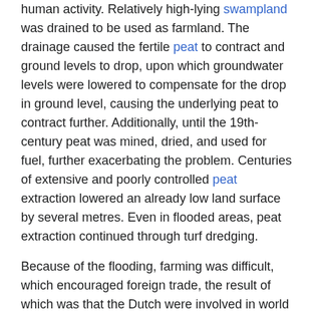human activity. Relatively high-lying swampland was drained to be used as farmland. The drainage caused the fertile peat to contract and ground levels to drop, upon which groundwater levels were lowered to compensate for the drop in ground level, causing the underlying peat to contract further. Additionally, until the 19th-century peat was mined, dried, and used for fuel, further exacerbating the problem. Centuries of extensive and poorly controlled peat extraction lowered an already low land surface by several metres. Even in flooded areas, peat extraction continued through turf dredging.
Because of the flooding, farming was difficult, which encouraged foreign trade, the result of which was that the Dutch were involved in world affairs since the early 14th/15th century.[112]
[Figure (photo): Photograph of a flat green polder landscape with cows grazing near a water channel. Trees visible in the background under a pale grey-blue sky.]